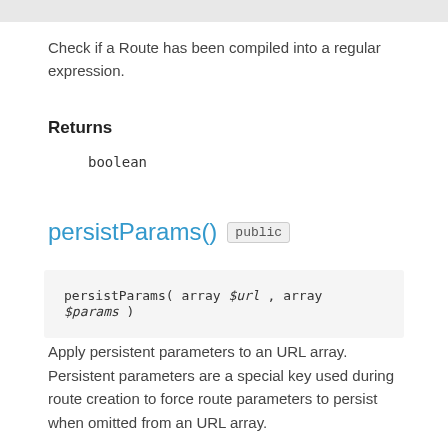Check if a Route has been compiled into a regular expression.
Returns
boolean
persistParams()  public
persistParams( array $url , array $params )
Apply persistent parameters to an URL array. Persistent parameters are a special key used during route creation to force route parameters to persist when omitted from an URL array.